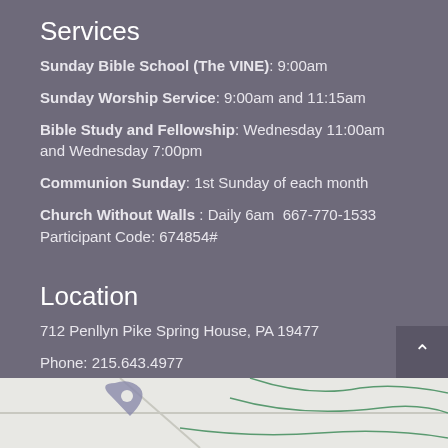Services
Sunday Bible School (The VINE): 9:00am
Sunday Worship Service: 9:00am and 11:15am
Bible Study and Fellowship: Wednesday 11:00am and Wednesday 7:00pm
Communion Sunday: 1st Sunday of each month
Church Without Walls : Daily 6am  667-770-1533 Participant Code: 674854#
Location
712 Penllyn Pike Spring House, PA 19477
Phone: 215.643.4977
Email: info@bbc4christ.org
[Figure (map): Partial map view visible at bottom of page]